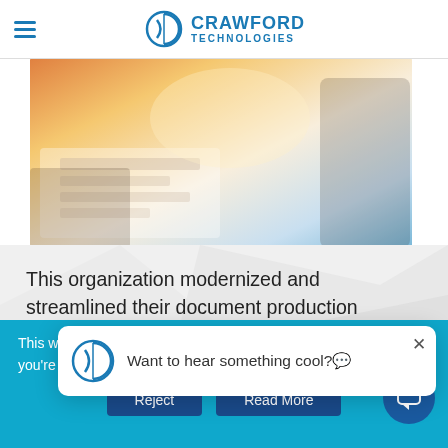Crawford Technologies
[Figure (photo): Office desk scene with papers, laptop, and hands working, bright warm light]
This organization modernized and streamlined their document production processes over multiple print centers, standardizing and consolidating workflows that produced well o...
This website uses ... you're ok with this, but you can opt-out if you wish.
[Figure (other): Popup notification with Crawford Technologies logo and text: Want to hear something cool?]
Reject
Read More